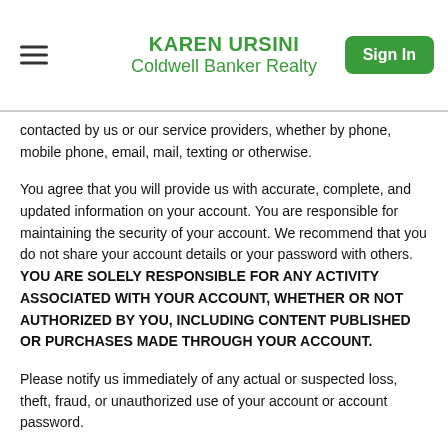KAREN URSINI
Coldwell Banker Realty
contacted by us or our service providers, whether by phone, mobile phone, email, mail, texting or otherwise.
You agree that you will provide us with accurate, complete, and updated information on your account. You are responsible for maintaining the security of your account. We recommend that you do not share your account details or your password with others. YOU ARE SOLELY RESPONSIBLE FOR ANY ACTIVITY ASSOCIATED WITH YOUR ACCOUNT, WHETHER OR NOT AUTHORIZED BY YOU, INCLUDING CONTENT PUBLISHED OR PURCHASES MADE THROUGH YOUR ACCOUNT.
Please notify us immediately of any actual or suspected loss, theft, fraud, or unauthorized use of your account or account password.
Please note that if a "Public Area" is available on the Site, such as a forum, message board, or other